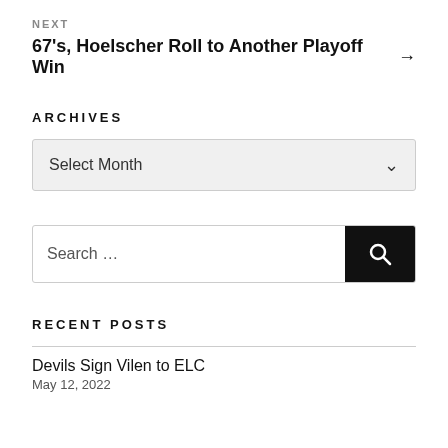NEXT
67's, Hoelscher Roll to Another Playoff Win →
ARCHIVES
[Figure (screenshot): Dropdown select box showing 'Select Month' with a chevron icon]
[Figure (screenshot): Search input field with 'Search …' placeholder and a black search button with magnifying glass icon]
RECENT POSTS
Devils Sign Vilen to ELC
May 12, 2022